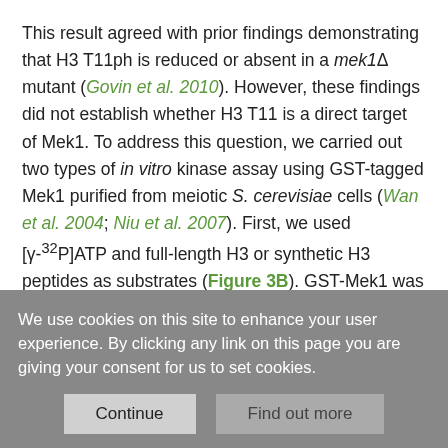This result agreed with prior findings demonstrating that H3 T11ph is reduced or absent in a mek1Δ mutant (Govin et al. 2010). However, these findings did not establish whether H3 T11 is a direct target of Mek1. To address this question, we carried out two types of in vitro kinase assay using GST-tagged Mek1 purified from meiotic S. cerevisiae cells (Wan et al. 2004; Niu et al. 2007). First, we used [γ-32P]ATP and full-length H3 or synthetic H3 peptides as substrates (Figure 3B). GST-Mek1 was visible in all lanes by Coomassie staining (Figure 3B, bottom panel) and its activity was confirmed by its ability to autophosphorylate (Figure 3B, top panel) (Niu et al. 2009). GST-Mek1 was able to phosphorylate full-length H3 and a peptide
We use cookies on this site to enhance your user experience. By clicking any link on this page you are giving your consent for us to set cookies.